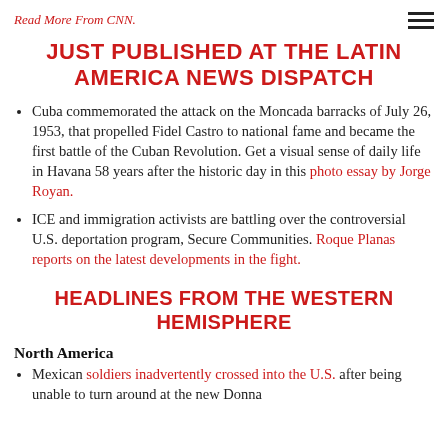Read More From CNN.
JUST PUBLISHED AT THE LATIN AMERICA NEWS DISPATCH
Cuba commemorated the attack on the Moncada barracks of July 26, 1953, that propelled Fidel Castro to national fame and became the first battle of the Cuban Revolution. Get a visual sense of daily life in Havana 58 years after the historic day in this photo essay by Jorge Royan.
ICE and immigration activists are battling over the controversial U.S. deportation program, Secure Communities. Roque Planas reports on the latest developments in the fight.
HEADLINES FROM THE WESTERN HEMISPHERE
North America
Mexican soldiers inadvertently crossed into the U.S. after being unable to turn around at the new Donna